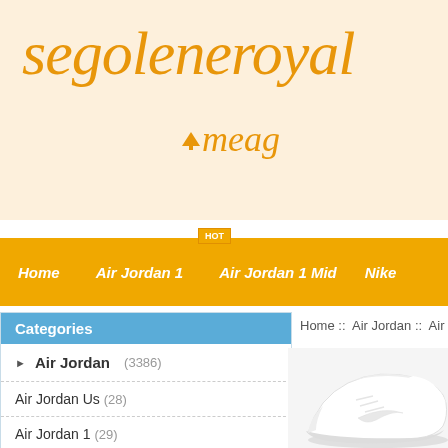segoleneroyal meag
Home  Air Jordan 1  Air Jordan 1 Mid  Nike
Categories
Home :: Air Jordan :: Air Jordan 1 White :
Air Jordan (3386)
Air Jordan Us (28)
Air Jordan 1 (29)
Air Jordan 1 Mid (28)
Nike Air Jordan I Shoes (22)
Mids Air Jordan 1 (29)
Air Jordan 1 Lid (4)
Airjordan1 (29)
[Figure (photo): White Air Jordan 1 sneaker shoe on white background]